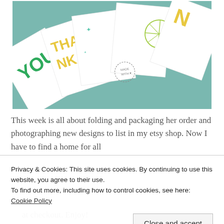[Figure (photo): A fan/spread of greeting cards with colorful letterpress or printed designs including green 'YOU' text, yellow text, and lime illustrations, arranged on a teal/green surface, photographed from above at an angle.]
This week is all about folding and packaging her order and photographing new designs to list in my etsy shop. Now I have to find a home for all
Privacy & Cookies: This site uses cookies. By continuing to use this website, you agree to their use.
To find out more, including how to control cookies, see here: Cookie Policy
Close and accept
at checkout. Enjoy!